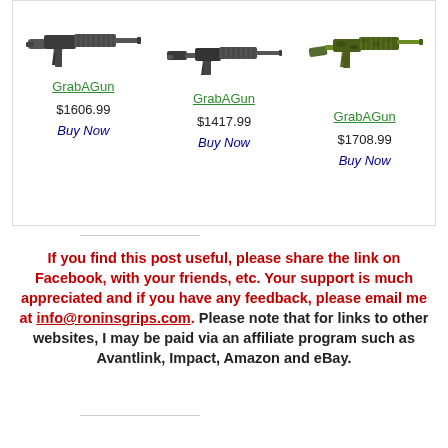[Figure (photo): Three rifles displayed in a product comparison box with retailer links (GrabAGun), prices, and Buy Now buttons. Left: compact AR-pistol style rifle, $1606.99. Center: standard AR-style rifle, $1417.99. Right: camouflage AR-style rifle, $1708.99.]
If you find this post useful, please share the link on Facebook, with your friends, etc. Your support is much appreciated and if you have any feedback, please email me at info@roninsgrips.com. Please note that for links to other websites, I may be paid via an affiliate program such as Avantlink, Impact, Amazon and eBay.